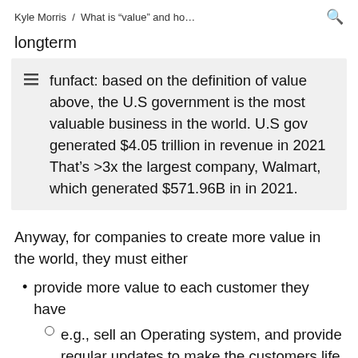Kyle Morris / What is "value" and ho...
longterm
funfact: based on the definition of value above, the U.S government is the most valuable business in the world. U.S gov generated $4.05 trillion in revenue in 2021 That's >3x the largest company, Walmart, which generated $571.96B in in 2021.
Anyway, for companies to create more value in the world, they must either
provide more value to each customer they have
e.g., sell an Operating system, and provide regular updates to make the customers life